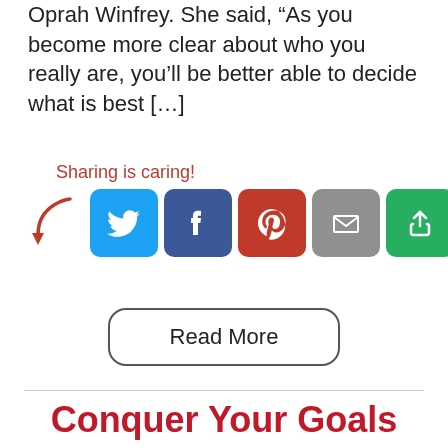Oprah Winfrey. She said, “As you become more clear about who you really are, you’ll be better able to decide what is best […]
[Figure (infographic): Sharing is caring! label with a red arrow pointing to social media share buttons: Twitter (blue), Facebook (dark blue), Pinterest (red), Email (gray), Share (green)]
Read More
Conquer Your Goals Before Breakfast
by sherry | Leave a Comment